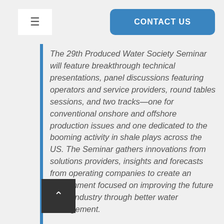☰  |  CONTACT US
The 29th Produced Water Society Seminar will feature breakthrough technical presentations, panel discussions featuring operators and service providers, round tables sessions, and two tracks—one for conventional onshore and offshore production issues and one dedicated to the booming activity in shale plays across the US. The Seminar gathers innovations from solutions providers, insights and forecasts from operating companies to create an environment focused on improving the future of the industry through better water management.